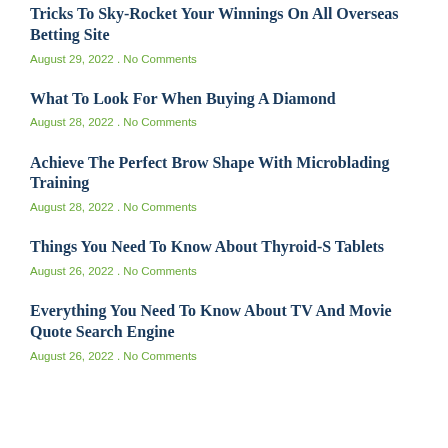Tricks To Sky-Rocket Your Winnings On All Overseas Betting Site
August 29, 2022 . No Comments
What To Look For When Buying A Diamond
August 28, 2022 . No Comments
Achieve The Perfect Brow Shape With Microblading Training
August 28, 2022 . No Comments
Things You Need To Know About Thyroid-S Tablets
August 26, 2022 . No Comments
Everything You Need To Know About TV And Movie Quote Search Engine
August 26, 2022 . No Comments